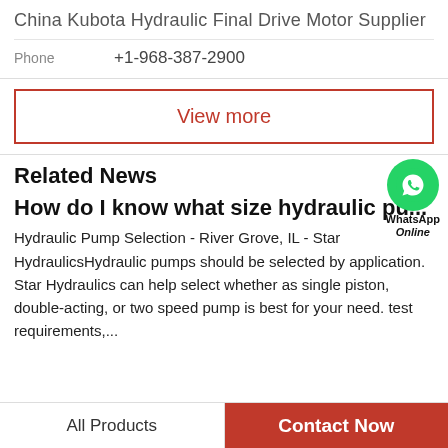China Kubota Hydraulic Final Drive Motor Supplier
Phone   +1-968-387-2900
View more
Related News
[Figure (logo): WhatsApp Online green circle icon with phone handset, labeled WhatsApp Online]
How do I know what size hydraulic pu...
Hydraulic Pump Selection - River Grove, IL - Star HydraulicsHydraulic pumps should be selected by application. Star Hydraulics can help select whether as single piston, double-acting, or two speed pump is best for your need. test requirements,...
All Products   Contact Now